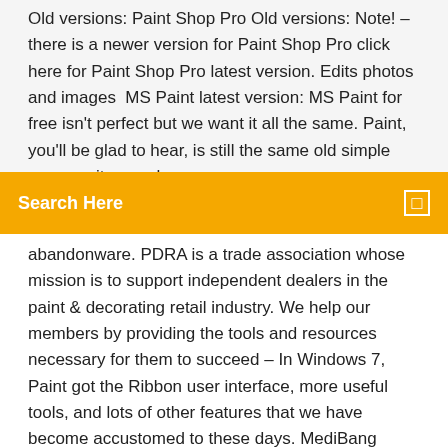Old versions: Paint Shop Pro Old versions: Note! – there is a newer version for Paint Shop Pro click here for Paint Shop Pro latest version. Edits photos and images  MS Paint latest version: MS Paint for free isn't perfect but we want it all the same. Paint, you'll be glad to hear, is still the same old simple program it was when
abandonware. PDRA is a trade association whose mission is to support independent dealers in the paint & decorating retail industry. We help our members by providing the tools and resources necessary for them to succeed – In Windows 7, Paint got the Ribbon user interface, more useful tools, and lots of other features that we have become accustomed to these days. MediBang Paint - Make Art ! APK - Now MediBang Paint - Make Art ! paint.NET Download. This is free image editing and photo manipulation software. It features an intuitive and